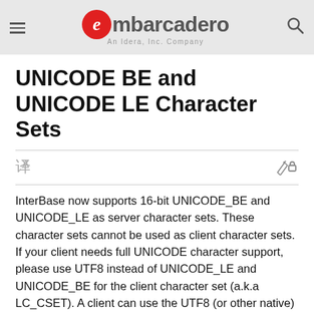Embarcadero — An Idera, Inc. Company
UNICODE BE and UNICODE LE Character Sets
InterBase now supports 16-bit UNICODE_BE and UNICODE_LE as server character sets. These character sets cannot be used as client character sets. If your client needs full UNICODE character support, please use UTF8 instead of UNICODE_LE and UNICODE_BE for the client character set (a.k.a LC_CSET). A client can use the UTF8 (or other native) client character set to connect with a UNICODE database.